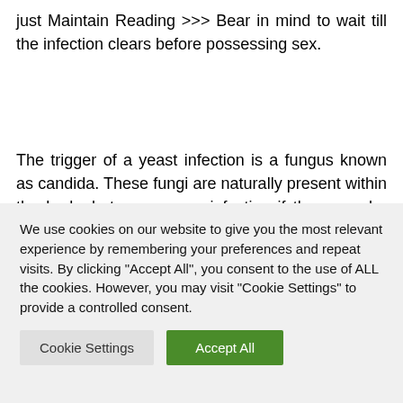just Maintain Reading >>> Bear in mind to wait till the infection clears before possessing sex.
The trigger of a yeast infection is a fungus known as candida. These fungi are naturally present within the body, but may cause infection if they may be overexposed. Antibiotics may cause an overgrowth of candida. Broad-
We use cookies on our website to give you the most relevant experience by remembering your preferences and repeat visits. By clicking "Accept All", you consent to the use of ALL the cookies. However, you may visit "Cookie Settings" to provide a controlled consent.